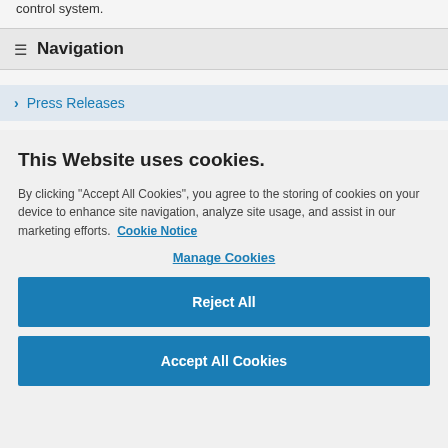control system.
Navigation
> Press Releases
This Website uses cookies.
By clicking "Accept All Cookies", you agree to the storing of cookies on your device to enhance site navigation, analyze site usage, and assist in our marketing efforts. Cookie Notice
Manage Cookies
Reject All
Accept All Cookies